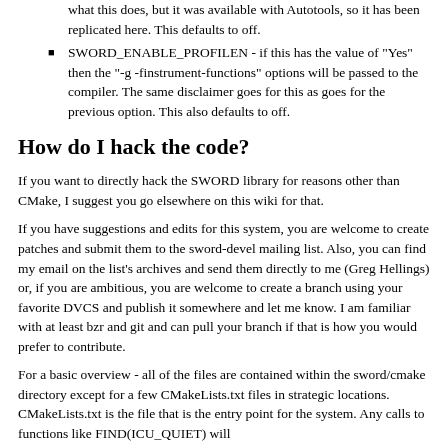what this does, but it was available with Autotools, so it has been replicated here. This defaults to off.
SWORD_ENABLE_PROFILEN - if this has the value of "Yes" then the "-g -finstrument-functions" options will be passed to the compiler. The same disclaimer goes for this as goes for the previous option. This also defaults to off.
How do I hack the code?
If you want to directly hack the SWORD library for reasons other than CMake, I suggest you go elsewhere on this wiki for that.
If you have suggestions and edits for this system, you are welcome to create patches and submit them to the sword-devel mailing list. Also, you can find my email on the list's archives and send them directly to me (Greg Hellings) or, if you are ambitious, you are welcome to create a branch using your favorite DVCS and publish it somewhere and let me know. I am familiar with at least bzr and git and can pull your branch if that is how you would prefer to contribute.
For a basic overview - all of the files are contained within the sword/cmake directory except for a few CMakeLists.txt files in strategic locations. CMakeLists.txt is the file that is the entry point for the system. Any calls to functions like FIND(ICU_QUIET) will